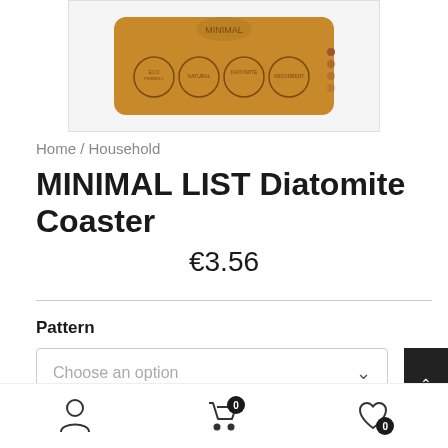[Figure (photo): Product photo of MINIMAL LIST Diatomite Coaster in cardboard packaging with circle icons, shown from above on white background]
Home / Household
MINIMAL LIST Diatomite Coaster
€3.56
Pattern
Choose an option